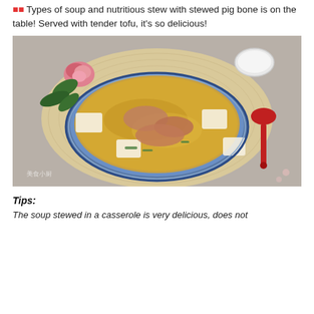Types of soup and nutritious stew with stewed pig bone is on the table! Served with tender tofu, it's so delicious!
[Figure (photo): A bowl of soup with tofu and pork ribs stewed together, served in a blue and white patterned bowl on a woven placemat. A red spoon, a small white bowl, and a pink rose with green leaves are arranged around the bowl.]
Tips:
The soup stewed in a casserole is very delicious, does not